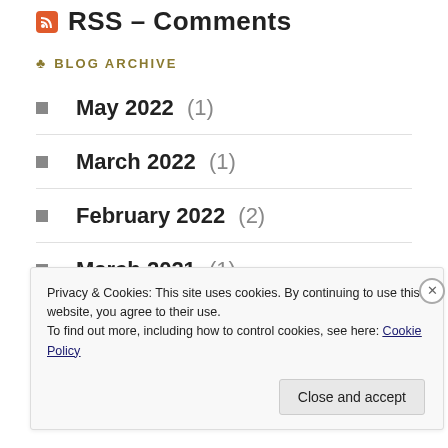RSS - Comments
BLOG ARCHIVE
May 2022 (1)
March 2022 (1)
February 2022 (2)
March 2021 (1)
December 2020 (1)
Privacy & Cookies: This site uses cookies. By continuing to use this website, you agree to their use. To find out more, including how to control cookies, see here: Cookie Policy